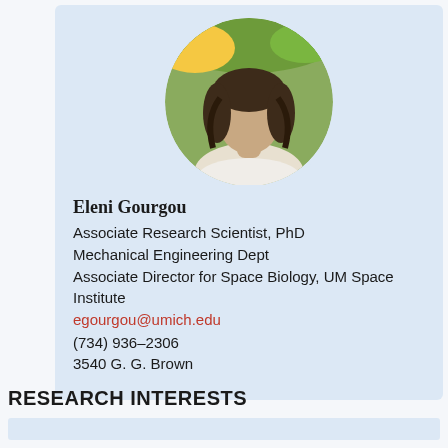[Figure (photo): Circular portrait photo of Eleni Gourgou, a woman with long dark hair, outdoors with blurred foliage background]
Eleni Gourgou
Associate Research Scientist, PhD
Mechanical Engineering Dept
Associate Director for Space Biology, UM Space Institute
egourgou@umich.edu
(734) 936-2306
3540 G. G. Brown
RESEARCH INTERESTS